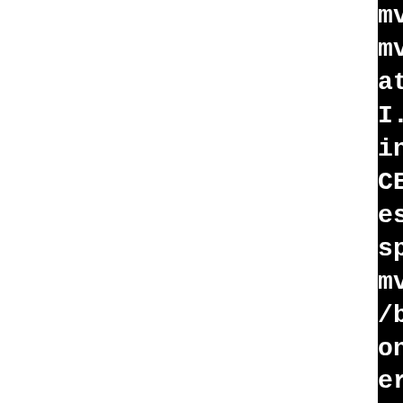[Figure (screenshot): Terminal/build log output showing compiler commands for RPM build system. Black background with white monospace text showing gcc compilation commands, libtool invocations, and object file linking for librpmbu library.]